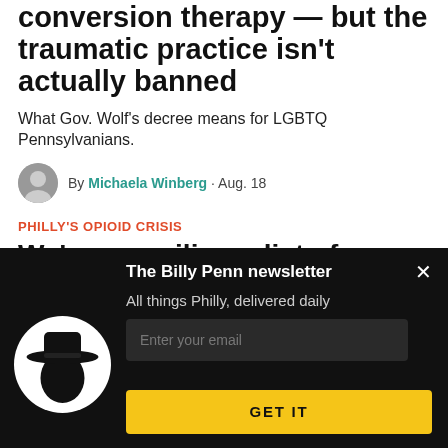conversion therapy — but the traumatic practice isn't actually banned
What Gov. Wolf's decree means for LGBTQ Pennsylvanians.
By Michaela Winberg · Aug. 18
PHILLY'S OPIOID CRISIS
We're compiling a list of Philly's proactive
[Figure (infographic): Billy Penn newsletter signup modal on black background. Shows Billy Penn hat logo, title 'The Billy Penn newsletter', description 'All things Philly, delivered daily', email input field, and GET IT button in yellow.]